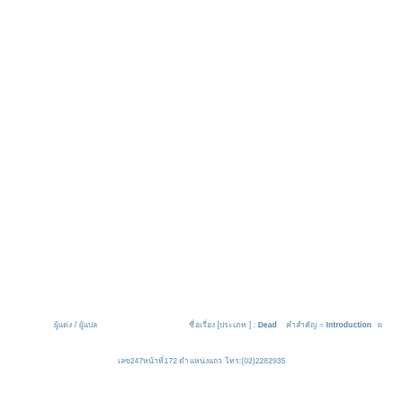ผู้แต่ง / ผู้แปล                ชื่อเรื่อง [ประเภท ] : Dead    คำสำคัญ = Introduction  ผ
เลข247หน้าที่172 ตำแหน่งแถว โทร:(02)2282935